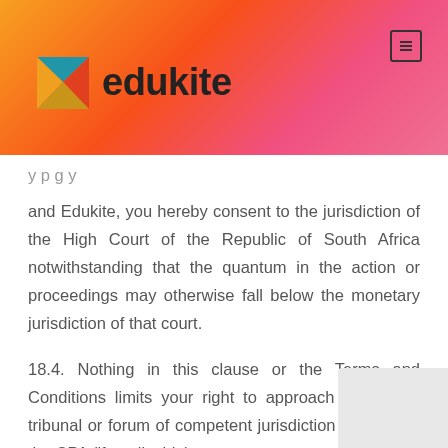edukite
and Edukite, you hereby consent to the jurisdiction of the High Court of the Republic of South Africa notwithstanding that the quantum in the action or proceedings may otherwise fall below the monetary jurisdiction of that court.
18.4. Nothing in this clause or the Terms and Conditions limits your right to approach any court, tribunal or forum of competent jurisdiction in terms of the CPA (if applicable).